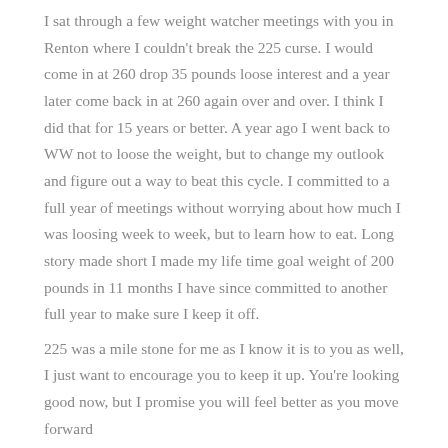I sat through a few weight watcher meetings with you in Renton where I couldn't break the 225 curse. I would come in at 260 drop 35 pounds loose interest and a year later come back in at 260 again over and over. I think I did that for 15 years or better. A year ago I went back to WW not to loose the weight, but to change my outlook and figure out a way to beat this cycle. I committed to a full year of meetings without worrying about how much I was loosing week to week, but to learn how to eat. Long story made short I made my life time goal weight of 200 pounds in 11 months I have since committed to another full year to make sure I keep it off.
225 was a mile stone for me as I know it is to you as well, I just want to encourage you to keep it up. You're looking good now, but I promise you will feel better as you move forward